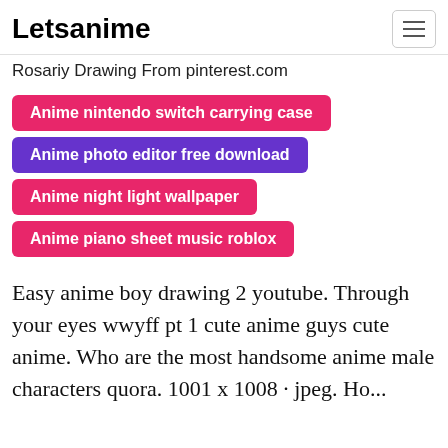Letsanime
Rosariy Drawing From pinterest.com
Anime nintendo switch carrying case
Anime photo editor free download
Anime night light wallpaper
Anime piano sheet music roblox
Easy anime boy drawing 2 youtube. Through your eyes wwyff pt 1 cute anime guys cute anime. Who are the most handsome anime male characters quora. 1001 x 1008 · jpeg. However by definition that we will visit in the how to...